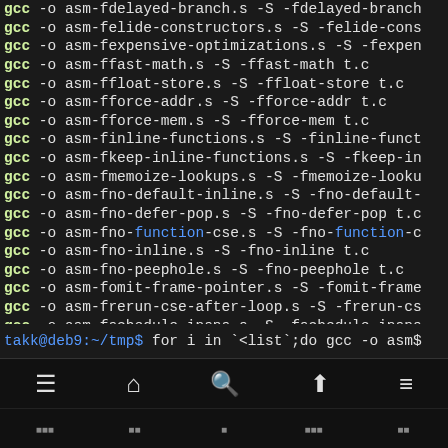Terminal output showing gcc compilation commands for various optimization flags
Navigation bar with menu, home, search, up, and list icons
Partial command line: takk@deb9:~/tmp$ for i in `<list`;do gcc -o asm$